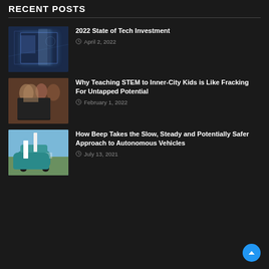RECENT POSTS
2022 State of Tech Investment — April 2, 2022
Why Teaching STEM to Inner-City Kids is Like Fracking For Untapped Potential — February 1, 2022
How Beep Takes the Slow, Steady and Potentially Safer Approach to Autonomous Vehicles — July 13, 2021